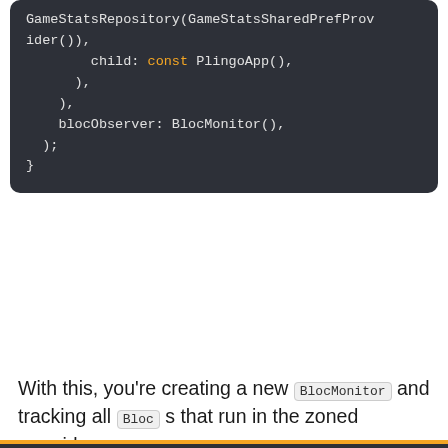[Figure (screenshot): Dark-themed code block showing Dart/Flutter code with GameStatsRepository, PlingoApp, and BlocMonitor() references]
With this, you're creating a new BlocMonitor and tracking all Bloc s that run in the zoned override.
raywenderlich.com and our partners use cookies to understand how you use our site and to serve you personalized content and ads. By continuing to use this site, you accept these cookies, our privacy policy and terms of service.
OK ✓   Manage privacy settings